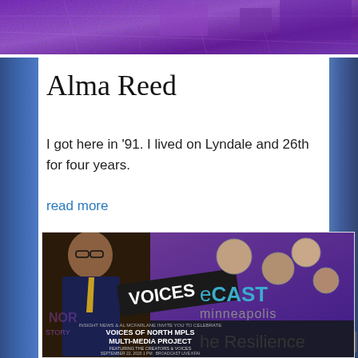[Figure (photo): Purple/violet abstract banner image at top of page with architectural/urban elements]
Alma Reed
I got here in ‘91. I lived on Lyndale and 26th for four years.
read more
[Figure (photo): Event poster for Voices of North Mpls Multi-Media Project featuring a man in a suit and illustrated Black community members. Text: INSIGHT NEWS & AL MCFARLANE INVITE YOU TO CELEBRATE VOICES OF NORTH MPLS MULTI-MEDIA PROJECT FEATURING THE CREATORS & VOICES SEPTEMBER 22, 2020 1 PM BROADCAST LIVE KFAI STREAMED LIVE KFAI FACEBOOK & INSIGHT NEWS FACEBOOK]
eCAST minneapolis
he Resilience